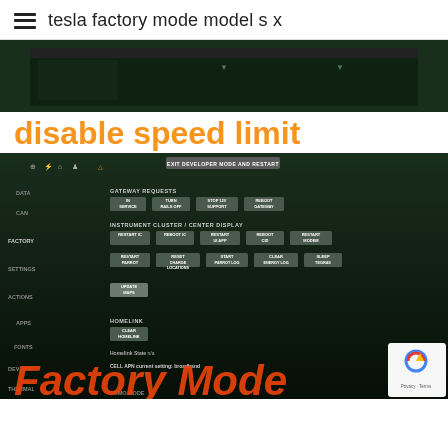tesla factory mode model s x
[Figure (photo): Dark screenshot of a Tesla vehicle display showing a dark screen with green tint, partially visible.]
disable speed limit
[Figure (screenshot): Tesla factory mode developer menu screenshot showing GATEWAY REQUESTS section with buttons: IN SERVICE, TURN RAILS OFF, STOP 12V SUPPORT, REBOOT GATEWAY. INSTRUMENT CLUSTER / CENTER DISPLAY section with buttons: RESTART IC, REBOOT IC, RESTART UI APP, REBOOT CID, RESTART MODEM, RESTART PARROT, RESET CHARGE LOCATIONS, START PARROT LOG, CLEAR ENERGY LOG, SLEEP TEGRAS. ACTIONS section with UPDATE MAPS button. APPS section. HOMELINK section with CLEAR HOMELINK button. Homelink State: n/a. CELL APN current setting: broadband. Factory Mode text overlay at bottom.]